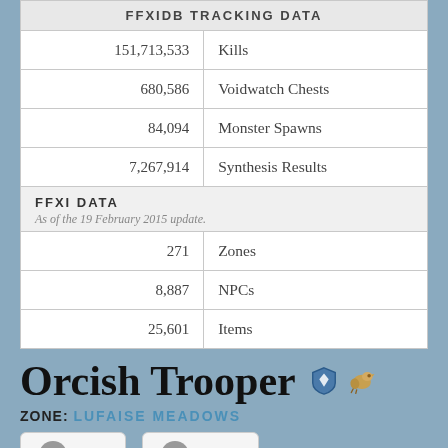|  |  |
| --- | --- |
| FFXIDB TRACKING DATA |  |
| 151,713,533 | Kills |
| 680,586 | Voidwatch Chests |
| 84,094 | Monster Spawns |
| 7,267,914 | Synthesis Results |
| FFXI DATA
As of the 19 February 2015 update. |  |
| 271 | Zones |
| 8,887 | NPCs |
| 25,601 | Items |
Orcish Trooper
ZONE: LUFAISE MEADOWS
Drops
See also